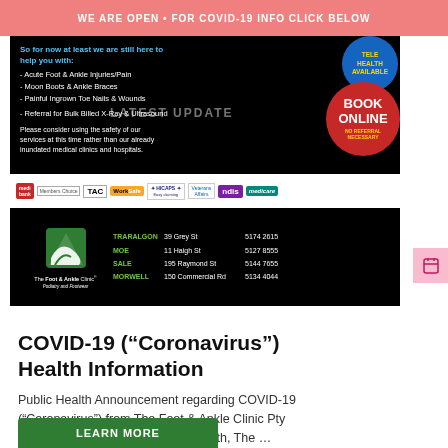WE ARE OPEN • FOR COVID-19 INFO CLICK BELOW
[Figure (illustration): Advertisement for The Foot & Ankle Clinic showing services (Acute Foot & Ankle Injuries/Pain, Moon Boots & Ankle Braces, Painful Ingrown Toe Nails & Wounds, Referral for Bulk Billed X-Ray & Ultrasound), LATEST UPDATE overlay, Book Online badge, logos (medibank, TAC, WorkSafe, HICAPS, ndis, medicare), and clinic locations: TRARALGON 39 Grey St 5174 2615, MOE 11 Haigh St 5127 8555, SALE 195 Raymond St 5144 7655, MORWELL 150 Commercial Rd 5134 4044]
COVID-19 (“Coronavirus”) Health Information
Public Health Announcement regarding COVID-19 (“Coronavirus”) from The Foot & Ankle Clinic Pty Ltd. The Australian Minister for Health, The ...
LEARN MORE